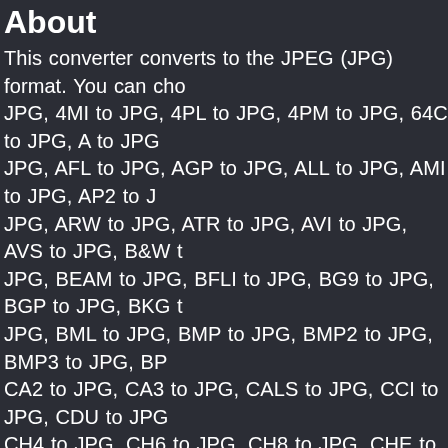About
This converter converts to the JPEG (JPG) format. You can cho... JPG, 4MI to JPG, 4PL to JPG, 4PM to JPG, 64C to JPG, A to JPG, JPG, AFL to JPG, AGP to JPG, ALL to JPG, AMI to JPG, AP2 to J... JPG, ARW to JPG, ATR to JPG, AVI to JPG, AVS to JPG, B&W t... JPG, BEAM to JPG, BFLI to JPG, BG9 to JPG, BGP to JPG, BKG t... JPG, BML to JPG, BMP to JPG, BMP2 to JPG, BMP3 to JPG, BP... CA2 to JPG, CA3 to JPG, CALS to JPG, CCI to JPG, CDU to JPG, CH4 to JPG, CH6 to JPG, CH8 to JPG, CHE to JPG, CHR to JPG, JPG, CLP to JPG, CM5 to JPG, CMP to JPG, CMYK to JPG, CMYK... to JPG, CRW to JPG, CUBE to JPG, CUR to JPG, CUT to JPG, CW... DCT to JPG, DCTV to JPG, DCX to JPG, DD to JPG, DDS to JPG, JPG, DHR to JPG, DIB to JPG, DIN to JPG, DIT to JPG, DLM to JP... JPG, DPX to JPG, DR to JPG, DRG to JPG, DRL to JPG, DRP to J... JPG, EMF to JPG, EPA to JPG, EPDF to JPG, EPI to JPG, EPS to ... JPG, EZA to JPG, F80 to JPG, FAX to JPG, FBI to JPG, FCP to JP... FLI to JPG, FN2 to JPG, FNT to JPG, FP2 to JPG, FPR to JPG, FF... JPG, G09 to JPG, G10 to JPG, G11 to JPG, G2F to JPG, G9B to J... JPG, GG to JPG, GHG to JPG, GIF to JPG, GIG to JPG, GIH to JPG, GLS to JPG, GOD to JPG, GPLT to JPG, GR1 to JPG, GR2 to JPG, JPG, GRF to JPG, GRP to JPG, GUN to JPG, HAM6 to JPG, HAM... HEIC to JPG, HFC to JPG, HGB to JPG, HGR to JPG, HIM to JPG